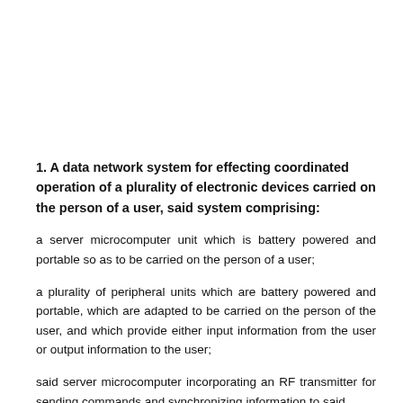1. A data network system for effecting coordinated operation of a plurality of electronic devices carried on the person of a user, said system comprising:
a server microcomputer unit which is battery powered and portable so as to be carried on the person of a user;
a plurality of peripheral units which are battery powered and portable, which are adapted to be carried on the person of the user, and which provide either input information from the user or output information to the user;
said server microcomputer incorporating an RF transmitter for sending commands and synchronizing information to said